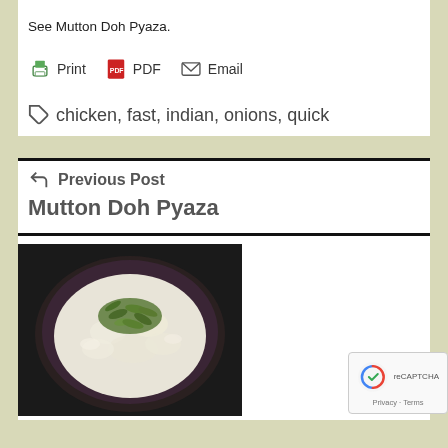See Mutton Doh Pyaza.
Print  PDF  Email
chicken, fast, indian, onions, quick
Previous Post
Mutton Doh Pyaza
[Figure (photo): A bowl of white rice dish (possibly curd rice) topped with green curry leaves, photographed from above on a dark background.]